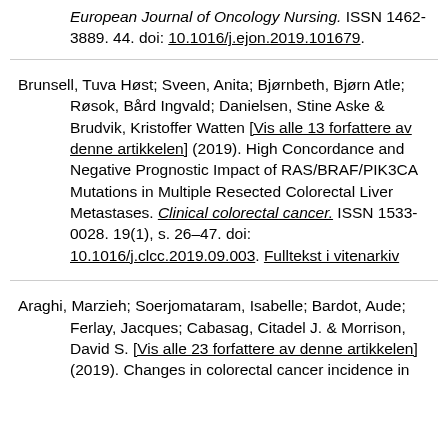European Journal of Oncology Nursing. ISSN 1462-3889. 44. doi: 10.1016/j.ejon.2019.101679.
Brunsell, Tuva Høst; Sveen, Anita; Bjørnbeth, Bjørn Atle; Røsok, Bård Ingvald; Danielsen, Stine Aske & Brudvik, Kristoffer Watten [Vis alle 13 forfattere av denne artikkelen] (2019). High Concordance and Negative Prognostic Impact of RAS/BRAF/PIK3CA Mutations in Multiple Resected Colorectal Liver Metastases. Clinical colorectal cancer. ISSN 1533-0028. 19(1), s. 26–47. doi: 10.1016/j.clcc.2019.09.003. Fulltekst i vitenarkiv
Araghi, Marzieh; Soerjomataram, Isabelle; Bardot, Aude; Ferlay, Jacques; Cabasag, Citadel J. & Morrison, David S. [Vis alle 23 forfattere av denne artikkelen] (2019). Changes in colorectal cancer incidence in